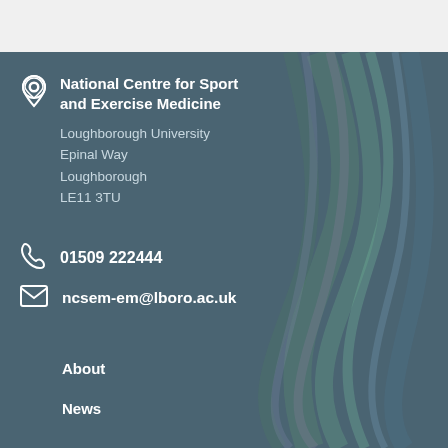National Centre for Sport and Exercise Medicine
Loughborough University
Epinal Way
Loughborough
LE11 3TU
01509 222444
ncsem-em@lboro.ac.uk
About
News